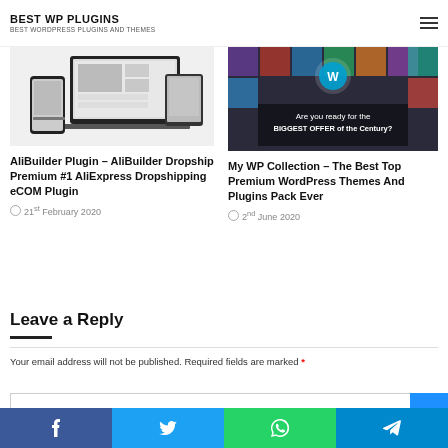BEST WP PLUGINS
BEST WORDPRESS PLUGINS AND THEMES
[Figure (screenshot): Thumbnail image showing AliBuilder plugin on multiple devices (phone, tablet, laptop)]
AliBuilder Plugin – AliBuilder Dropship Premium #1 AliExpress Dropshipping eCOM Plugin
21st February 2020
[Figure (screenshot): My WP Collection banner — dark background with colorful app icons and text 'Are you ready for the BIGGEST OFFER of the Century?']
My WP Collection – The Best Top Premium WordPress Themes And Plugins Pack Ever
2nd June 2020
Leave a Reply
Your email address will not be published. Required fields are marked *